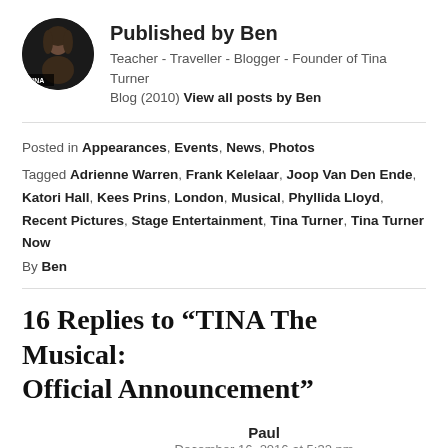[Figure (photo): Circular avatar photo of a woman with brown hair against dark background, with 'TINA' text overlay at bottom left]
Published by Ben
Teacher - Traveller - Blogger - Founder of Tina Turner Blog (2010) View all posts by Ben
Posted in Appearances, Events, News, Photos
Tagged Adrienne Warren, Frank Kelelaar, Joop Van Den Ende, Katori Hall, Kees Prins, London, Musical, Phyllida Lloyd, Recent Pictures, Stage Entertainment, Tina Turner, Tina Turner Now
By Ben
16 Replies to “TINA The Musical: Official Announcement”
Paul
December 16, 2016 at 5:32 pm